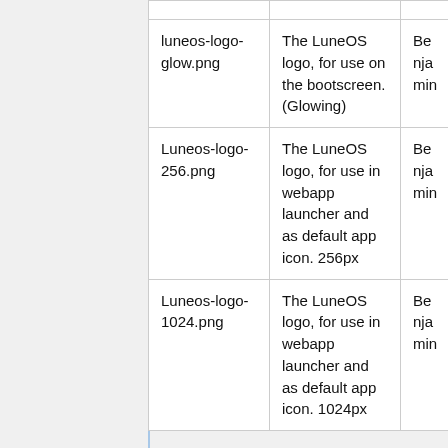| File | Description | Author |
| --- | --- | --- |
| luneos-logo-glow.png | The LuneOS logo, for use on the bootscreen. (Glowing) | Benjamin |
| Luneos-logo-256.png | The LuneOS logo, for use in webapp launcher and as default app icon. 256px | Benjamin |
| Luneos-logo-1024.png | The LuneOS logo, for use in webapp launcher and as default app icon. 1024px | Benjamin |